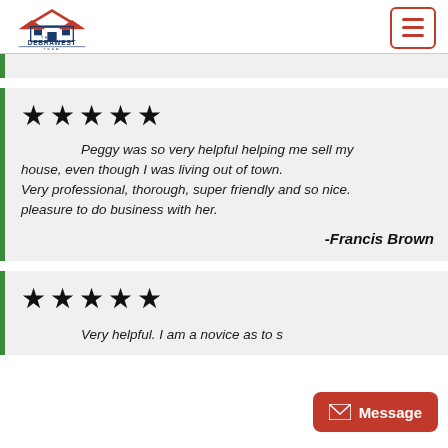The Debra West Team
(partially visible top review text)
★★★★★
Peggy was so very helpful helping me sell my house, even though I was living out of town. Very professional, thorough, super friendly and so nice. pleasure to do business with her.
-Francis Brown
★★★★★
Very helpful. I am a novice as to s... (cut off)